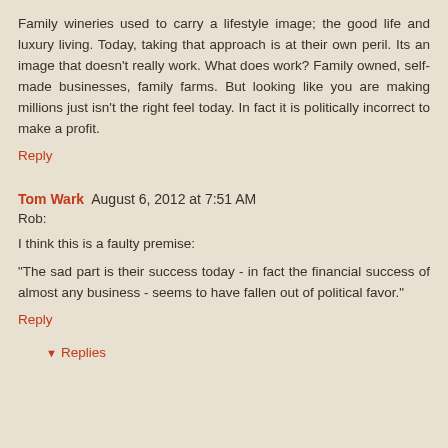Family wineries used to carry a lifestyle image; the good life and luxury living. Today, taking that approach is at their own peril. Its an image that doesn't really work. What does work? Family owned, self-made businesses, family farms. But looking like you are making millions just isn't the right feel today. In fact it is politically incorrect to make a profit.
Reply
Tom Wark  August 6, 2012 at 7:51 AM
Rob:
I think this is a faulty premise:
"The sad part is their success today - in fact the financial success of almost any business - seems to have fallen out of political favor."
Reply
Replies